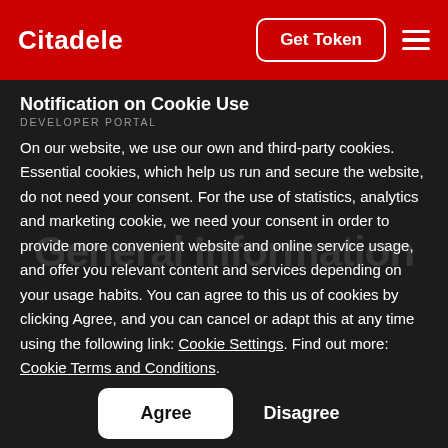Citadele | Get Token
Notification on Cookie Use
DEVELOPER PORTAL
On our website, we use our own and third-party cookies. Essential cookies, which help us run and secure the website, do not need your consent. For the use of statistics, analytics and marketing cookie, we need your consent in order to provide more convenient website and online service usage, and offer you relevant content and services depending on your usage habits. You can agree to this us of cookies by clicking Agree, and you can cancel or adapt this at any time using the following link: Cookie Settings. Find out more: Cookie Terms and Conditions.
EU has issued PSD2 regulation payments safer, increase consumers protection, foster innovation